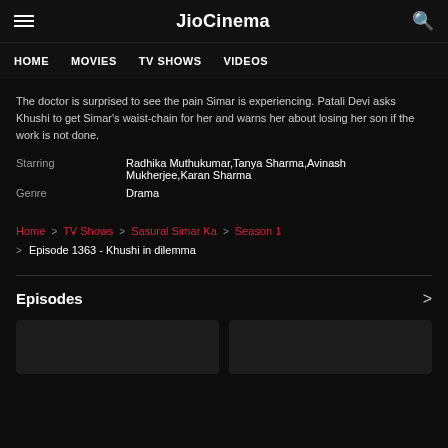JioCinema
HOME   MOVIES   TV SHOWS   VIDEOS
The doctor is surprised to see the pain Simar is experiencing. Patali Devi asks Khushi to get Simar's waist-chain for her and warns her about losing her son if the work is not done.
| Starring | Radhika Muthukumar,Tanya Sharma,Avinash Mukherjee,Karan Sharma |
| Genre | Drama |
Home > TV Shows > Sasural Simar Ka > Season 1 > Episode 1363 - Khushi in dilemma
Episodes
[Figure (screenshot): Two dark thumbnail placeholders for episode cards]